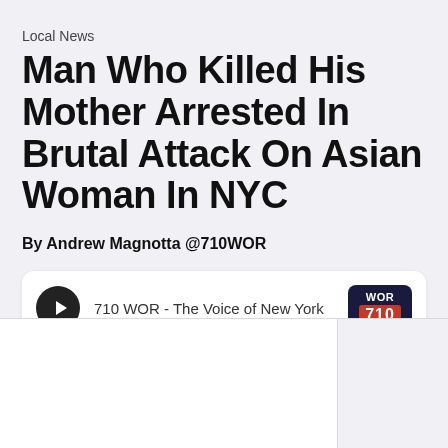Local News
Man Who Killed His Mother Arrested In Brutal Attack On Asian Woman In NYC
By Andrew Magnotta @710WOR
[Figure (other): Audio player widget showing '710 WOR - The Voice of New York' with a play button and WOR 710 logo]
[Figure (other): Bottom section with two panels: a white panel on the left and a light gray panel on the right]